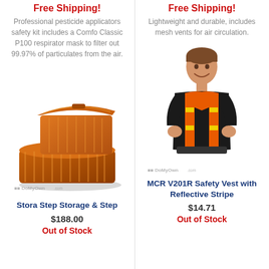Free Shipping!
Professional pesticide applicators safety kit includes a Comfo Classic P100 respirator mask to filter out 99.97% of particulates from the air.
[Figure (photo): Stora Step Storage & Step product photo - orange/brown ribbed step stool with storage compartment, with DoMyOwn.com watermark]
Stora Step Storage & Step
$188.00
Out of Stock
Free Shipping!
Lightweight and durable, includes mesh vents for air circulation.
[Figure (photo): Man wearing MCR V201R orange safety vest with yellow reflective stripes, with DoMyOwn.com watermark]
MCR V201R Safety Vest with Reflective Stripe
$14.71
Out of Stock